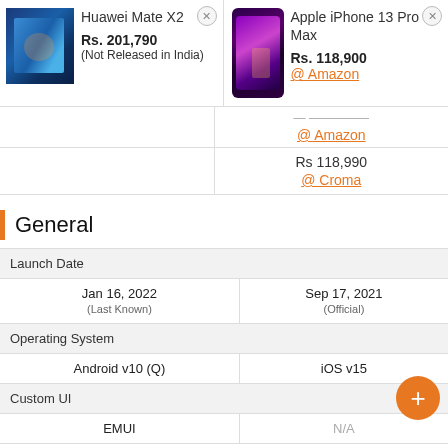| Huawei Mate X2 | Apple iPhone 13 Pro Max |
| --- | --- |
| Rs. 201,790
(Not Released in India) | Rs. 118,900
@ Amazon |
|  | @ Amazon
(partially visible price) |
|  | Rs 118,990
@ Croma |
General
| Launch Date |  |
| --- | --- |
| Jan 16, 2022
(Last Known) | Sep 17, 2021
(Official) |
| Operating System |  |
| Android v10 (Q) | iOS v15 |
| Custom UI |  |
| EMUI | N/A |